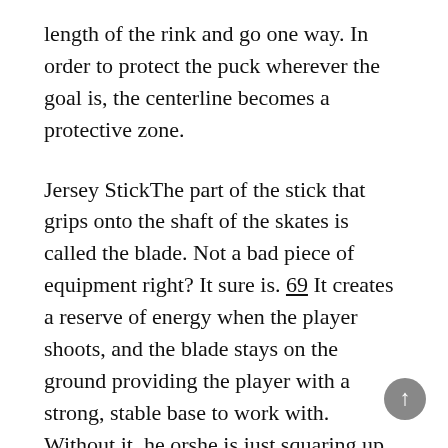length of the rink and go one way. In order to protect the puck wherever the goal is, the centerline becomes a protective zone.
Jersey StickThe part of the stick that grips onto the shaft of the skates is called the blade. Not a bad piece of equipment right? It sure is. 69 It creates a reserve of energy when the player shoots, and the blade stays on the ground providing the player with a strong, stable base to work with. Without it, he orshe is just squaring up to the puck and having to pivot with the skates.
The hockey stick also goes by the names ofercudo, saber, or blade. All three are respectfully used. As in the beginning of this article, these are